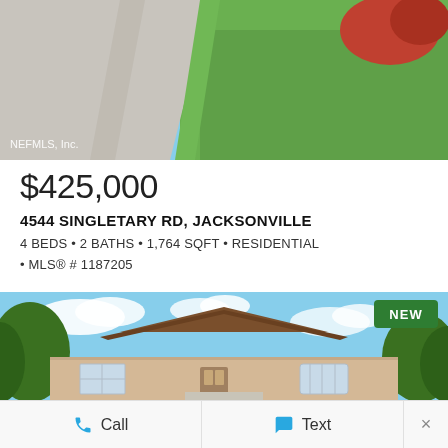[Figure (photo): Aerial or ground-level view of a driveway and green grass lawn, with a red shrub/tree in upper right corner. Watermark reads NEFMLS, Inc.]
$425,000
4544 SINGLETARY RD, JACKSONVILLE
4 BEDS • 2 BATHS • 1,764 SQFT • RESIDENTIAL • MLS® # 1187205
[Figure (photo): Front exterior photo of a single-story brick ranch-style home with brown roof, arched windows, and a central front door. Blue sky with white clouds. Trees on sides. Green NEW badge in upper right corner.]
Call
Text